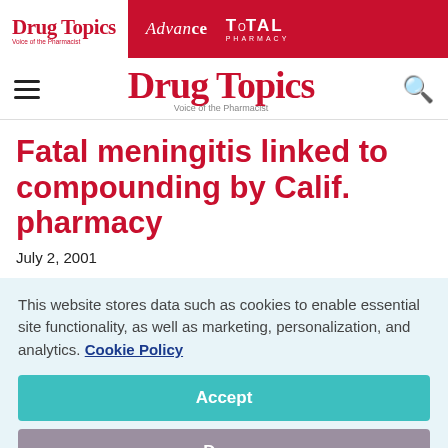Drug Topics | Advance | TOTAL PHARMACY
Drug Topics — Voice of the Pharmacist
Fatal meningitis linked to compounding by Calif. pharmacy
July 2, 2001
This website stores data such as cookies to enable essential site functionality, as well as marketing, personalization, and analytics. Cookie Policy
Accept
Deny